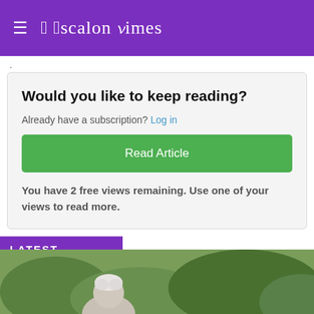≡ Escalon Times
.
Would you like to keep reading?
Already have a subscription? Log in
Read Article
You have 2 free views remaining. Use one of your views to read more.
LATEST
[Figure (photo): Outdoor photo showing a person with white/grey hair and green foliage/bushes in the background]